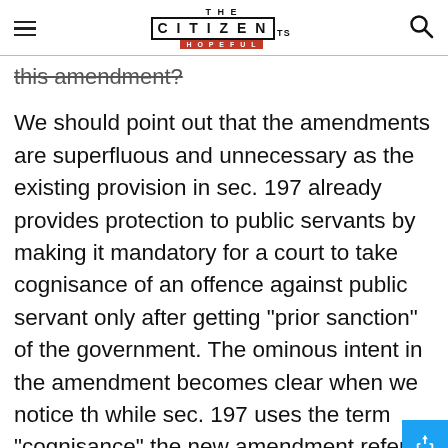THE CITIZEN IS HOPEFUL
this amendment?
We should point out that the amendments are superfluous and unnecessary as the existing provision in sec. 197 already provides protection to public servants by making it mandatory for a court to take cognisance of an offence against public servant only after getting "prior sanction" of the government. The ominous intent in the amendment becomes clear when we notice th while sec. 197 uses the term "cognisance" the new amendment refers to the word "investigate".